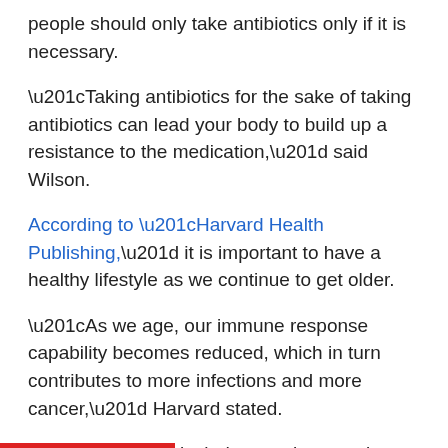people should only take antibiotics only if it is necessary.
“Taking antibiotics for the sake of taking antibiotics can lead your body to build up a resistance to the medication,” said Wilson.
According to “Harvard Health Publishing,” it is important to have a healthy lifestyle as we continue to get older.
“As we age, our immune response capability becomes reduced, which in turn contributes to more infections and more cancer,” Harvard stated.
A healthy lifestyle includes regular exercise, getting enough sleep, eating fruits and vegetables, washing hands and minimizing stress. These tips will help build up the immune system according to Harvard Health.
“Following general good-health guidelines is the single